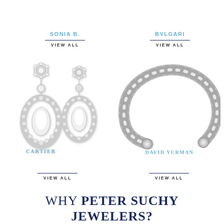SONIA B.
BVLGARI
VIEW ALL
VIEW ALL
[Figure (photo): Diamond drop earrings, Cartier, with pear-shaped center stones surrounded by round diamonds in a teardrop halo setting]
CARTIER
[Figure (photo): Silver twisted cable open cuff bracelet, David Yurman style]
DAVID YURMAN
VIEW ALL
VIEW ALL
WHY PETER SUCHY JEWELERS?